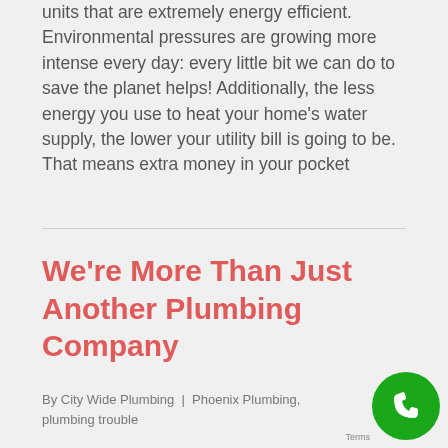units that are extremely energy efficient.  Environmental pressures are growing more intense every day: every little bit we can do to save the planet helps! Additionally, the less energy you use to heat your home's water supply, the lower your utility bill is going to be. That means extra money in your pocket
We're More Than Just Another Plumbing Company
By City Wide Plumbing | Phoenix Plumbing, plumbing trouble